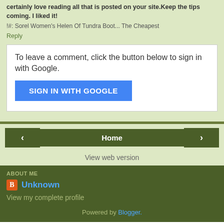certainly love reading all that is posted on your site.Keep the tips coming. I liked it!
!#: Sorel Women's Helen Of Tundra Boot... The Cheapest
Reply
To leave a comment, click the button below to sign in with Google.
[Figure (other): SIGN IN WITH GOOGLE button (blue)]
[Figure (other): Navigation bar with left arrow, Home button, right arrow]
View web version
ABOUT ME
Unknown
View my complete profile
Powered by Blogger.